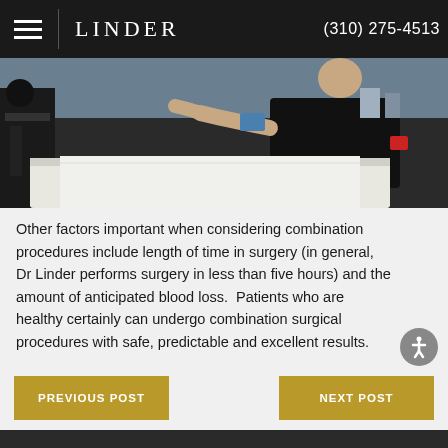LINDER  (310) 275-4513
[Figure (photo): A person in black clothing in a medical/surgical setting with equipment visible]
Other factors important when considering combination procedures include length of time in surgery (in general, Dr Linder performs surgery in less than five hours) and the amount of anticipated blood loss.  Patients who are healthy certainly can undergo combination surgical procedures with safe, predictable and excellent results.
PREVIOUS POST
NEXT POST